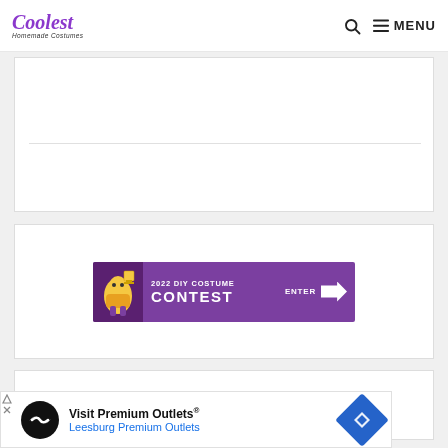Coolest Homemade Costumes — MENU
[Figure (other): White content card area with horizontal divider line]
[Figure (infographic): 2022 DIY Costume Contest — ENTER banner with purple background, costume character mascot, and arrow]
[Figure (other): White content card with social share buttons (Facebook and Twitter/blue button)]
[Figure (infographic): Advertisement banner: Visit Premium Outlets® Leesburg Premium Outlets with diamond navigation icon]